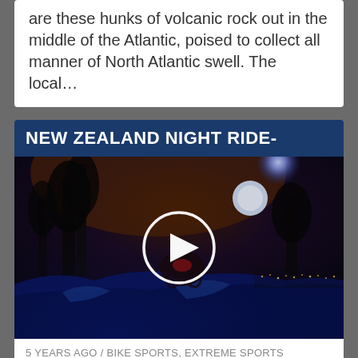are these hunks of volcanic rock out in the middle of the Atlantic, poised to collect all manner of North Atlantic swell. The local...
NEW ZEALAND NIGHT RIDE-
[Figure (photo): Night mountain bike riding scene with a rider jumping off rocks, trees silhouetted against a dark orange-purple sky with a bright blue moon/light, city lights visible in the background. A white play button circle overlay is centered on the image.]
5 YEARS AGO / BIKE SPORTS, EXTREME SPORTS VIDEOS...